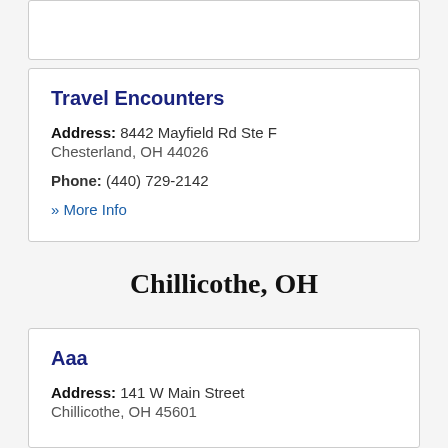Travel Encounters
Address: 8442 Mayfield Rd Ste F Chesterland, OH 44026
Phone: (440) 729-2142
» More Info
Chillicothe, OH
Aaa
Address: 141 W Main Street Chillicothe, OH 45601